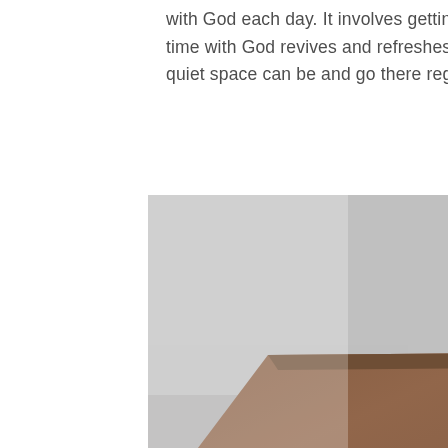with God each day. It involves getting alone, silencing our phone, and closing the door. Alone time with God revives and refreshes us like nothing else. So figure out where your designed quiet space can be and go there regularly.
[Figure (photo): A cozy cafe table scene with a wooden table, white metal chair, a teal coffee cup with latte art, and a glass vase with branches, set against a bright window. A red circular button with a chevron/up-arrow icon is overlaid on the image.]
[Figure (photo): Right side panel showing a city skyline at sunset/dusk with warm golden and orange tones, tall buildings visible.]